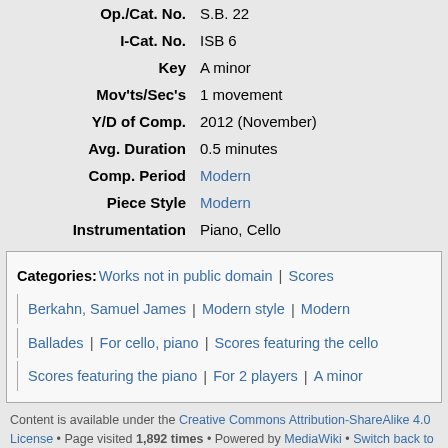| Op./Cat. No. | S.B. 22 |
| I-Cat. No. | ISB 6 |
| Key | A minor |
| Mov'ts/Sec's | 1 movement |
| Y/D of Comp. | 2012 (November) |
| Avg. Duration | 0.5 minutes |
| Comp. Period | Modern |
| Piece Style | Modern |
| Instrumentation | Piano, Cello |
Categories: Works not in public domain | Scores | Berkahn, Samuel James | Modern style | Modern | Ballades | For cello, piano | Scores featuring the cello | Scores featuring the piano | For 2 players | A minor
Content is available under the Creative Commons Attribution-ShareAlike 4.0 License • Page visited 1,892 times • Powered by MediaWiki • Switch back to classic skin